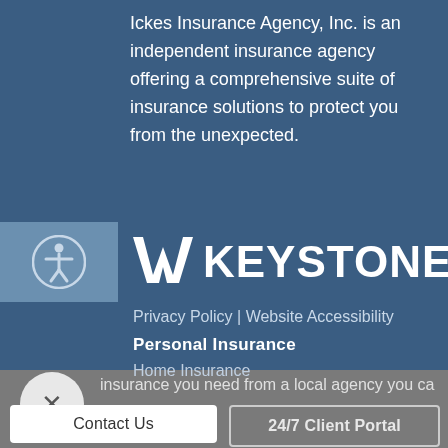Ickes Insurance Agency, Inc. is an independent insurance agency offering a comprehensive suite of insurance solutions to protect you from the unexpected.
[Figure (logo): Keystone logo with stylized W mark and KEYSTONE text in white]
Privacy Policy | Website Accessibility
Personal Insurance
Home Insurance
insurance you need from a local agency you ca
Contact Us
24/7 Client Portal